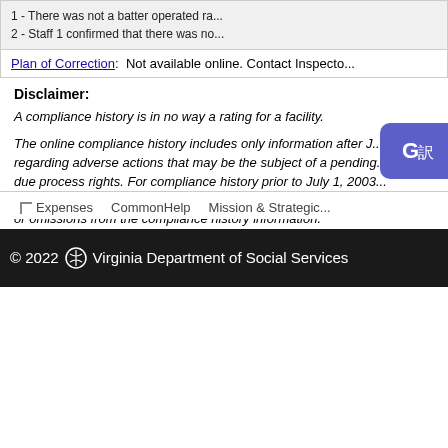1 - There was not a batter operated ra... 2 - Staff 1 confirmed that there was no...
Plan of Correction: Not available online. Contact Inspecto...
Disclaimer:
A compliance history is in no way a rating for a facility.
The online compliance history includes only information after J... regarding adverse actions that may be the subject of a pending... due process rights. For compliance history prior to July 1, 2003... the Licensing Inspector listed in the facility's information. The V... or omissions from the compliance history information.
Virginia Quality is a voluntary quality rating and improvement sy... pre-K. To find programs participating in Virginia Quality, click he...
Expenses   CommonHelp   Mission & Strategic...
© 2022 Virginia Department of Social Services